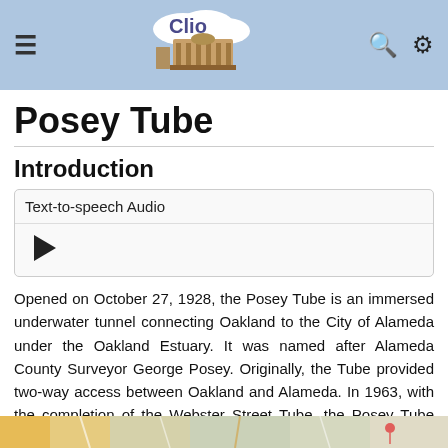Clio
Posey Tube
Introduction
Text-to-speech Audio
Opened on October 27, 1928, the Posey Tube is an immersed underwater tunnel connecting Oakland to the City of Alameda under the Oakland Estuary. It was named after Alameda County Surveyor George Posey. Originally, the Tube provided two-way access between Oakland and Alameda. In 1963, with the completion of the Webster Street Tube, the Posey Tube was converted so that it was used only for northbound traffic from Alameda to Oakland. On June 23, 1992, the Posey Tube Portal was designated as an Oakland Landmark.
[Figure (map): Partial map strip at the bottom of the page]